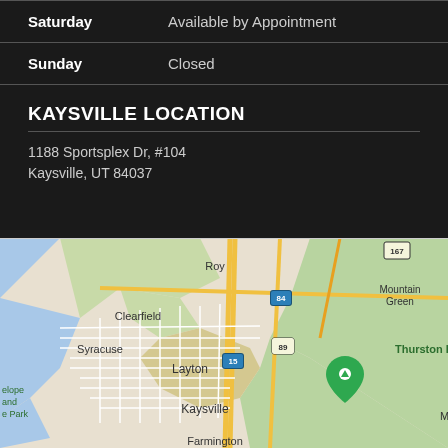| Saturday | Available by Appointment |
| Sunday | Closed |
KAYSVILLE LOCATION
1188 Sportsplex Dr, #104
Kaysville, UT 84037
[Figure (map): Google Maps view showing Kaysville, UT area including Roy, Clearfield, Syracuse, Layton, Kaysville, Farmington, Mountain Green, Thurston Peak. Highways 84, 89, 15, 167 visible. Green location marker near Thurston Peak.]